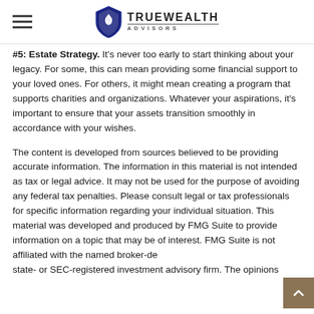TrueWealth Advisors
#5: Estate Strategy. It's never too early to start thinking about your legacy. For some, this can mean providing some financial support to your loved ones. For others, it might mean creating a program that supports charities and organizations. Whatever your aspirations, it's important to ensure that your assets transition smoothly in accordance with your wishes.
The content is developed from sources believed to be providing accurate information. The information in this material is not intended as tax or legal advice. It may not be used for the purpose of avoiding any federal tax penalties. Please consult legal or tax professionals for specific information regarding your individual situation. This material was developed and produced by FMG Suite to provide information on a topic that may be of interest. FMG Suite is not affiliated with the named broker-dealer, state- or SEC-registered investment advisory firm. The opinions